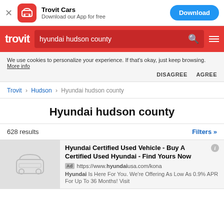[Figure (screenshot): App install banner for Trovit Cars with close button, app icon, app name, and Download button]
[Figure (screenshot): Trovit red search bar with logo and search query 'hyundai hudson county']
We use cookies to personalize your experience. If that's okay, just keep browsing. More info DISAGREE AGREE
Trovit > Hudson > Hyundai hudson county
Hyundai hudson county
628 results   Filters »
Hyundai Certified Used Vehicle - Buy A Certified Used Hyundai - Find Yours Now Ad https://www.hyundaiusa.com/kona Hyundai Is Here For You. We're Offering As Low As 0.9% APR For Up To 36 Months! Visit